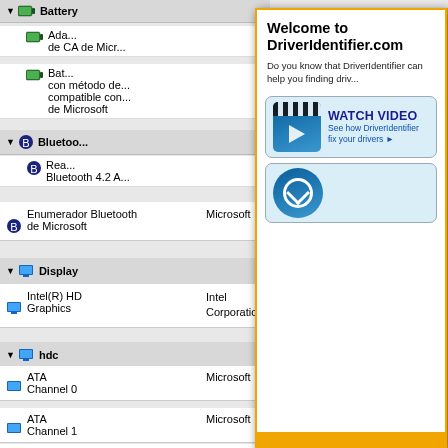[Figure (screenshot): Device Manager list showing Battery, Bluetooth categories with device entries, partially obscured by popup]
[Figure (screenshot): DriverIdentifier.com popup overlay with title 'Welcome to DriverIdentifier.com', subtitle text, Watch Video banner, and orange footer bar]
| Device | Vendor | Version | Date |
| --- | --- | --- | --- |
| Enumerador Bluetooth de Microsoft | Microsoft | 6.1.7601.17514 | 2006-06-21 |
| Display |  |  |  |
| Intel(R) HD Graphics | Intel Corporation | 20.19.15.5171 | 2020-11-04 |
| hdc |  |  |  |
| ATA Channel 0 | Microsoft | 6.1.7601.17514 | 2006-06-21 |
| ATA Channel 1 | Microsoft | 6.1.7601.17514 | 2006-06-21 |